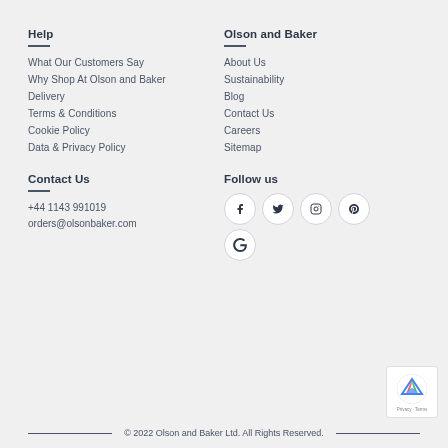Help
What Our Customers Say
Why Shop At Olson and Baker
Delivery
Terms & Conditions
Cookie Policy
Data & Privacy Policy
Olson and Baker
About Us
Sustainability
Blog
Contact Us
Careers
Sitemap
Contact Us
+44 1143 991019
orders@olsonbaker.com
Follow us
[Figure (other): Social media icons: Facebook, Twitter, Instagram, Pinterest, Google+]
© 2022 Olson and Baker Ltd. All Rights Reserved.